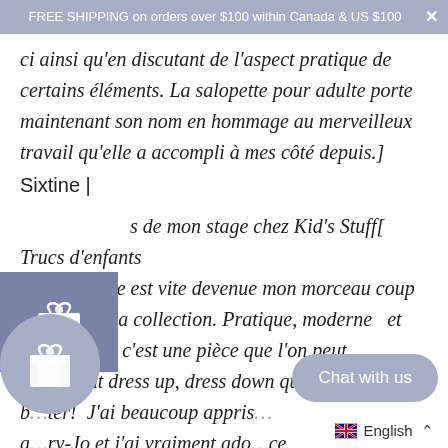FREE SHIPPING on orders over $100 within Canada & US $100
ci ainsi qu'en discutant de l'aspect pratique de certains éléments. La salopette pour adulte porte maintenant son nom en hommage au merveilleux travail qu'elle a accompli à mes côté depuis.]
Sixtine |
[…s de mon stage chez Kid's Stuff[ Trucs d'enfants ] la salopette est vite devenue mon morceau coup de cœur de la collection. Pratique, moderne  et confortable, c'est une pièce que l'on peut facilement dress up, dress down que je me voyais b…ter! J'ai beaucoup appris d… a…ry-Jo et j'ai vraiment ado…ce produit avec elle ! C'est un vrai honneur